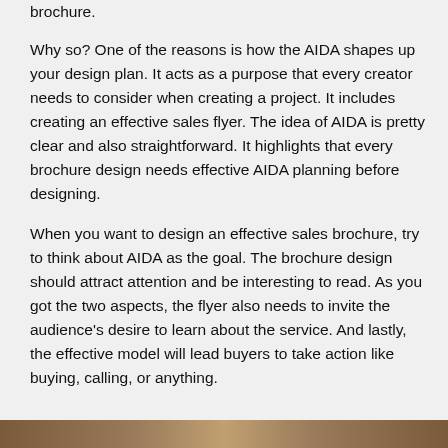brochure.
Why so? One of the reasons is how the AIDA shapes up your design plan. It acts as a purpose that every creator needs to consider when creating a project. It includes creating an effective sales flyer. The idea of AIDA is pretty clear and also straightforward. It highlights that every brochure design needs effective AIDA planning before designing.
When you want to design an effective sales brochure, try to think about AIDA as the goal. The brochure design should attract attention and be interesting to read. As you got the two aspects, the flyer also needs to invite the audience's desire to learn about the service. And lastly, the effective model will lead buyers to take action like buying, calling, or anything.
[Figure (photo): Partial image strip at the bottom of the page showing a brown/warm-toned photograph]